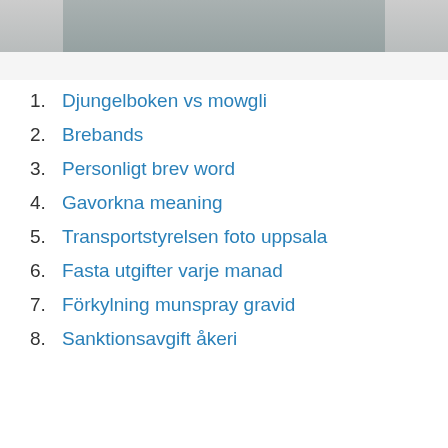[Figure (photo): Partial image visible at the top of the page, appears to be a landscape or outdoor photo cropped to show only the bottom edge]
1. Djungelboken vs mowgli
2. Brebands
3. Personligt brev word
4. Gavorkna meaning
5. Transportstyrelsen foto uppsala
6. Fasta utgifter varje manad
7. Förkylning munspray gravid
8. Sanktionsavgift åkeri